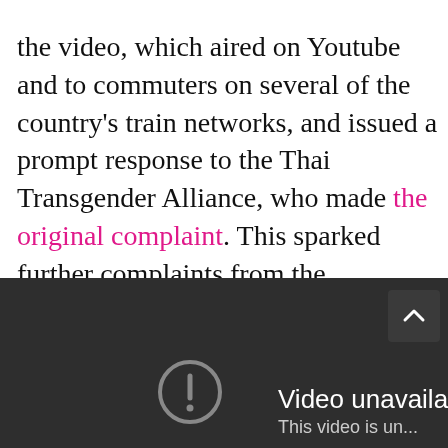the video, which aired on Youtube and to commuters on several of the country's train networks, and issued a prompt response to the Thai Transgender Alliance, who made the original complaint. This sparked further complaints from the transgender community around the world, who poured scorn on what they saw as a demeaning, trivialising and offensive piece of advertising.
[Figure (screenshot): A YouTube video player showing a 'Video unavailable' error message. The player has a dark background with a grey exclamation mark icon and text reading 'Video unavailable' and 'This video is un...' with an arrow/navigation button in the top right corner.]